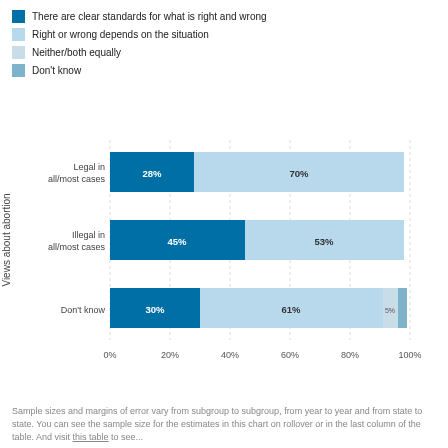[Figure (stacked-bar-chart): ]
Sample sizes and margins of error vary from subgroup to subgroup, from year to year and from state to state. You can see the sample size for the estimates in this chart on rollover or in the last column of the table. And visit this table to see...